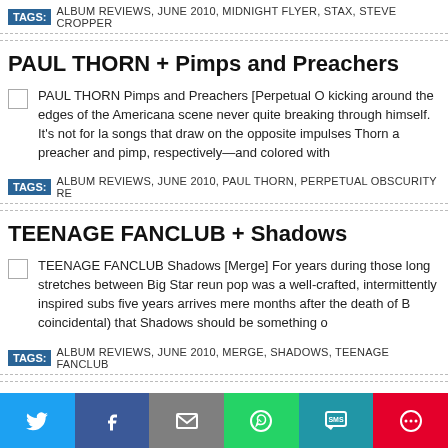TAGS: ALBUM REVIEWS, JUNE 2010, MIDNIGHT FLYER, STAX, STEVE CROPPER
PAUL THORN + Pimps and Preachers
PAUL THORN Pimps and Preachers [Perpetual Ob... kicking around the edges of the Americana scene never quite breaking through himself. It's not for la... songs that draw on the opposite impulses Thorn a... preacher and pimp, respectively—and colored with
TAGS: ALBUM REVIEWS, JUNE 2010, PAUL THORN, PERPETUAL OBSCURITY RE...
TEENAGE FANCLUB + Shadows
TEENAGE FANCLUB Shadows [Merge] For years during those long stretches between Big Star reun... pop was a well-crafted, intermittently inspired subs... five years arrives mere months after the death of B... coincidental) that Shadows should be something o...
TAGS: ALBUM REVIEWS, JUNE 2010, MERGE, SHADOWS, TEENAGE FANCLUB
THE CONSTELLATIONS + Southern Gothic